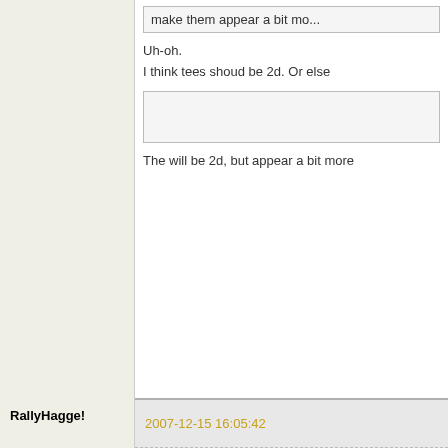make them appear a bit mo...
Uh-oh.
I think tees shoud be 2d. Or else
The will be 2d, but appear a bit more
RallyHagge!
2007-12-15 16:05:42
matricks wrote:
RallyHagge! wrote:
matricks wrote:
I have some other ideas
to make them appear a
Uh-oh.
I think tees shoud be 2d. Or
Member
Offline